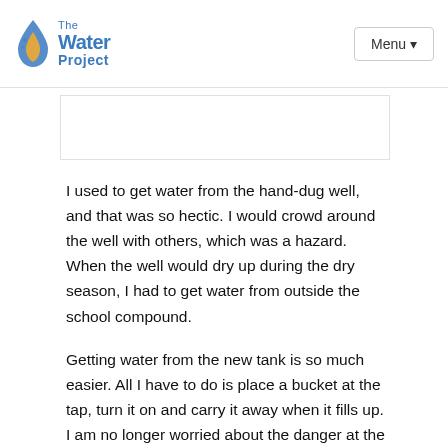The Water Project | Menu
[Figure (photo): Partial image visible at top of content area, mostly white/blank]
I used to get water from the hand-dug well, and that was so hectic. I would crowd around the well with others, which was a hazard. When the well would dry up during the dry season, I had to get water from outside the school compound.
Getting water from the new tank is so much easier. All I have to do is place a bucket at the tap, turn it on and carry it away when it fills up. I am no longer worried about the danger at the hand-dug well.
I have been able to concentrate on my studies in class